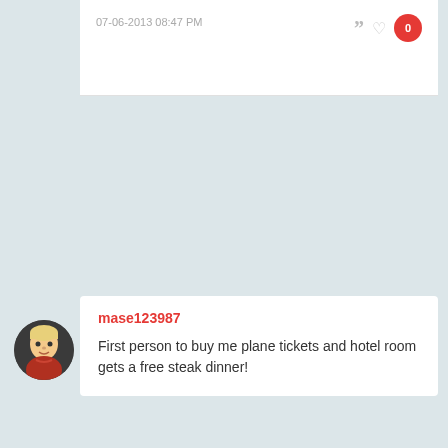07-06-2013 08:47 PM
mase123987
First person to buy me plane tickets and hotel room gets a free steak dinner!